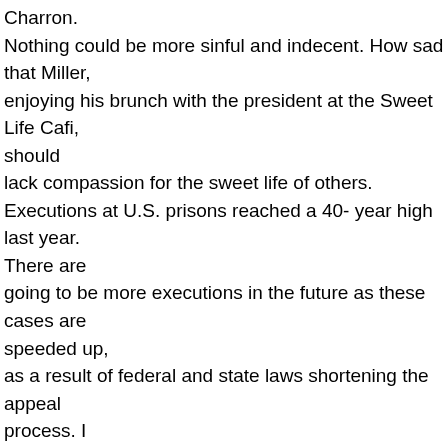Charron. Nothing could be more sinful and indecent. How sad that Miller, enjoying his brunch with the president at the Sweet Life Cafi, should lack compassion for the sweet life of others. Executions at U.S. prisons reached a 40- year high last year. There are going to be more executions in the future as these cases are speeded up, as a result of federal and state laws shortening the appeal process. I would now like to direct your attention to the overhead. The following chart shows statistics of the number of executions per state for the 1997 year. Currently there are only 12 states